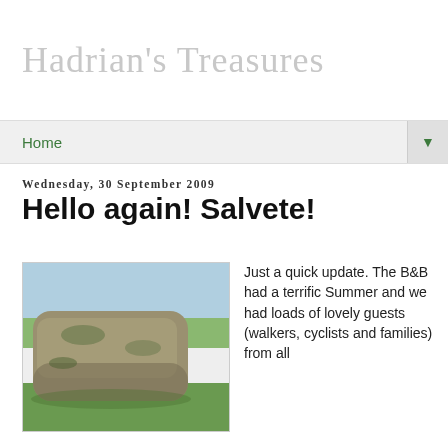Hadrian's Treasures
Home
Wednesday, 30 September 2009
Hello again! Salvete!
[Figure (photo): A large mossy stone block resting on grass with a countryside and sky in the background, likely a Roman stone from Hadrian's Wall area.]
Just a quick update. The B&B had a terrific Summer and we had loads of lovely guests (walkers, cyclists and families) from all